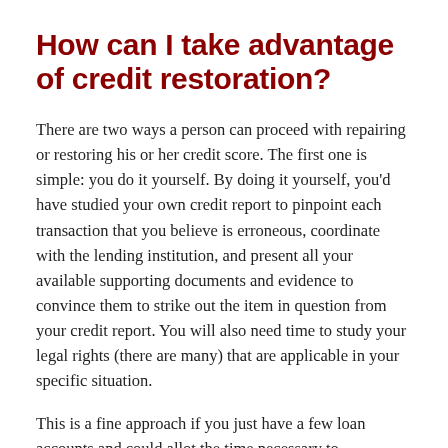How can I take advantage of credit restoration?
There are two ways a person can proceed with repairing or restoring his or her credit score. The first one is simple: you do it yourself. By doing it yourself, you'd have studied your own credit report to pinpoint each transaction that you believe is erroneous, coordinate with the lending institution, and present all your available supporting documents and evidence to convince them to strike out the item in question from your credit report. You will also need time to study your legal rights (there are many) that are applicable in your specific situation.
This is a fine approach if you just have a few loan accounts and could allot the time necessary to coordinate with the banks or lending agencies. For many people, however, this is simply not possible due to time constraints or sheer amount of work needed